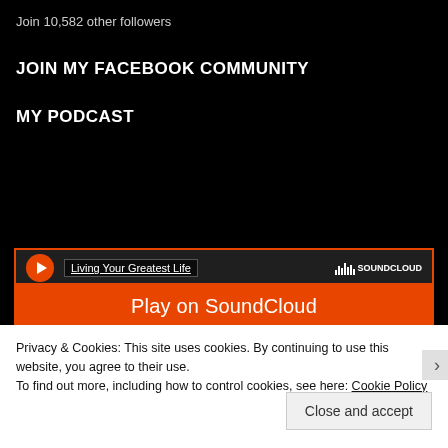Join 10,582 other followers
JOIN MY FACEBOOK COMMUNITY
MY PODCAST
[Figure (screenshot): SoundCloud embedded player showing 'Living Your Greatest Life' podcast with orange Play on SoundCloud button]
Privacy & Cookies: This site uses cookies. By continuing to use this website, you agree to their use.
To find out more, including how to control cookies, see here: Cookie Policy
Close and accept